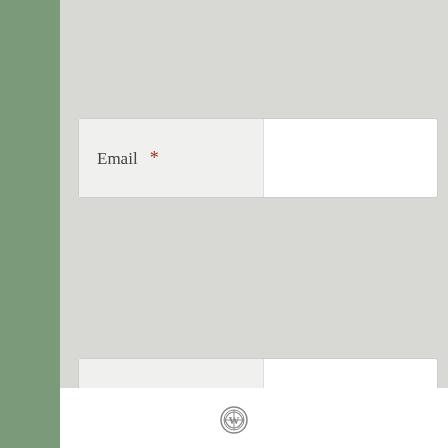[Figure (screenshot): WordPress comment form section showing Email field with asterisk (required), Website field, a checkbox for 'Notify me of new comments via email.', a 'Post Comment' button, a checkbox for 'Notify me of new posts via email.', and a WordPress logo at the bottom footer area.]